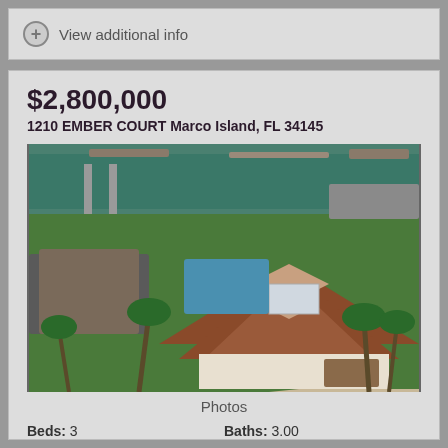View additional info
$2,800,000
1210 EMBER COURT Marco Island, FL 34145
[Figure (photo): Aerial photo of a waterfront property with a Mediterranean-style home featuring a terracotta roof, pool, palm trees, and boat docks on a canal in Marco Island, FL.]
Photos
Beds: 3
Baths: 3.00